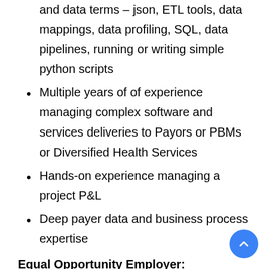and data terms – json, ETL tools, data mappings, data profiling, SQL, data pipelines, running or writing simple python scripts
Multiple years of of experience managing complex software and services deliveries to Payors or PBMs or Diversified Health Services
Hands-on experience managing a project P&L
Deep payer data and business process expertise
Equal Opportunity Employer:
As a mission-led technology company that is helping to drive better healthcare outcomes, Abacus Insights believes that the best innovation and value we can bring to our customers come from diverse ideas, thoughts, experiences, and